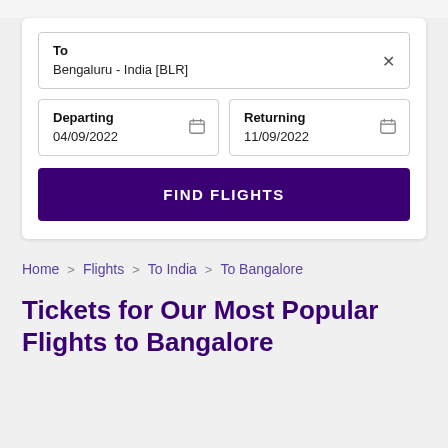To
Bengaluru - India [BLR]
Departing
04/09/2022
Returning
11/09/2022
FIND FLIGHTS
Home > Flights > To India > To Bangalore
Tickets for Our Most Popular Flights to Bangalore